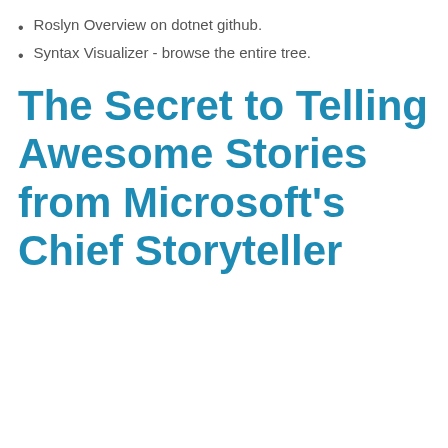Roslyn Overview on dotnet github.
Syntax Visualizer - browse the entire tree.
The Secret to Telling Awesome Stories from Microsoft's Chief Storyteller